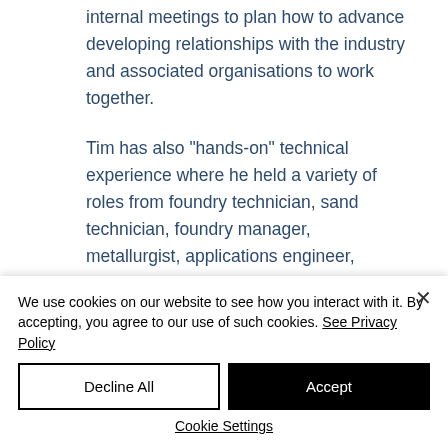internal meetings to plan how to advance developing relationships with the industry and associated organisations to work together.
Tim has also "hands-on" technical experience where he held a variety of roles from foundry technician, sand technician, foundry manager, metallurgist, applications engineer, technical manager before taking up senior management roles. He has
We use cookies on our website to see how you interact with it. By accepting, you agree to our use of such cookies. See Privacy Policy
Decline All
Accept
Cookie Settings